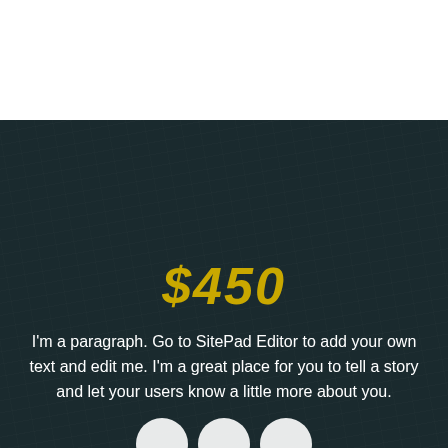$450
I'm a paragraph. Go to SitePad Editor to add your own text and edit me. I'm a great place for you to tell a story and let your users know a little more about you.
[Figure (illustration): Three white circular profile/avatar placeholders at the bottom of the dark background section]